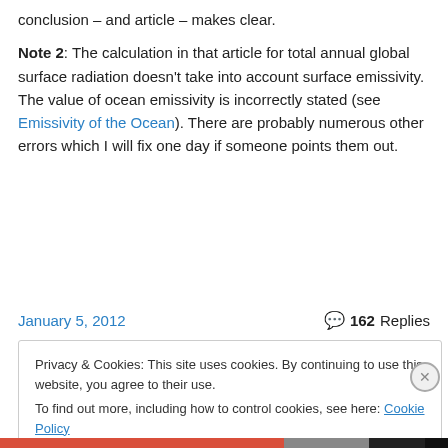conclusion – and article – makes clear.
Note 2: The calculation in that article for total annual global surface radiation doesn't take into account surface emissivity. The value of ocean emissivity is incorrectly stated (see Emissivity of the Ocean). There are probably numerous other errors which I will fix one day if someone points them out.
January 5, 2012
162 Replies
Privacy & Cookies: This site uses cookies. By continuing to use this website, you agree to their use.
To find out more, including how to control cookies, see here: Cookie Policy
Close and accept